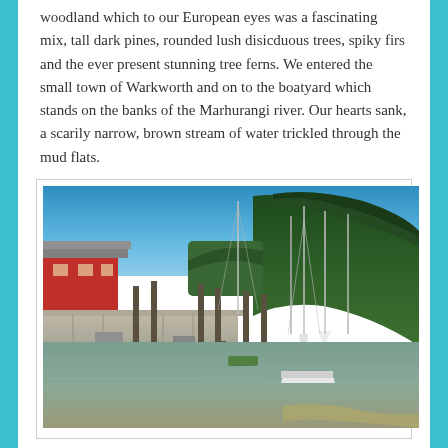woodland which to our European eyes was a fascinating mix, tall dark pines, rounded lush disicduous trees, spiky firs and the ever present stunning tree ferns. We entered the small town of Warkworth and on to the boatyard which stands on the banks of the Marhurangi river. Our hearts sank, a scarily narrow, brown stream of water trickled through the mud flats.
[Figure (photo): A marina/boatyard scene at Warkworth on the Marhurangi river. Wooden docks and piers with sailboat masts visible, a yellow floating dock in the foreground, a red building on the left, dense green forested hillside on the right, calm brownish-green river water with mud flats, blue sky above.]